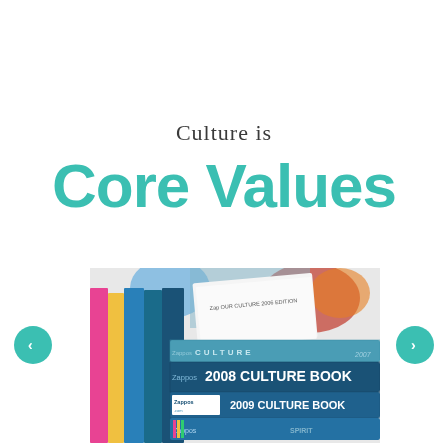Culture is
Core Values
[Figure (photo): Stack of Zappos culture books including '2006 Culture Book', '2009 Culture Book', 'Our Culture 2006 Edition', and other company culture publications, stacked on a surface with colorful spines visible.]